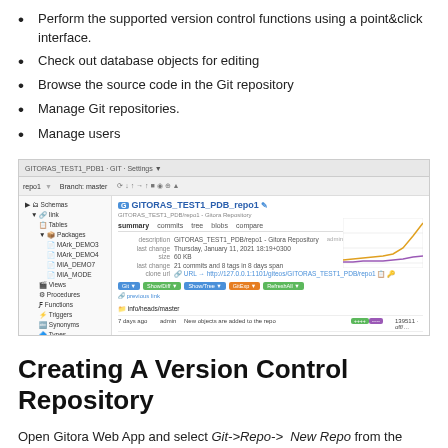Perform the supported version control functions using a point&click interface.
Check out database objects for editing
Browse the source code in the Git repository
Manage Git repositories.
Manage users
[Figure (screenshot): Screenshot of Gitora Web App showing the repository browser interface with GITORAS_TEST1_PDB_repo1 repository, sidebar with schemas and objects, commit history table, and a line chart.]
Creating A Version Control Repository
Open Gitora Web App and select Git->Repo-> New Repo from the menu bar. The Create a New Repo Dialog shows up.